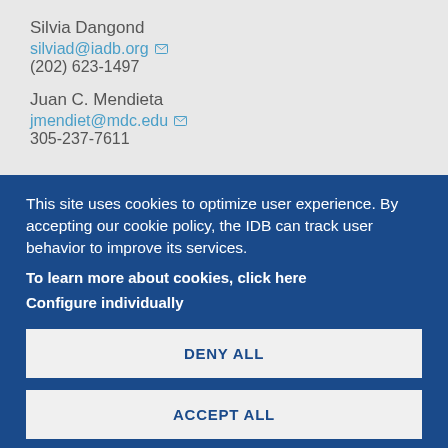Silvia Dangond
silviad@iadb.org
(202) 623-1497
Juan C. Mendieta
jmendiet@mdc.edu
305-237-7611
This site uses cookies to optimize user experience. By accepting our cookie policy, the IDB can track user behavior to improve its services.
To learn more about cookies, click here
Configure individually
DENY ALL
ACCEPT ALL